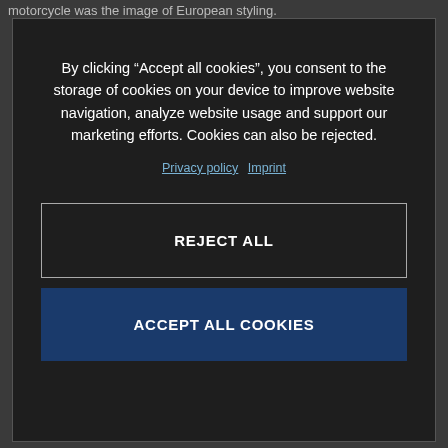motorcycle was the image of European styling.
By clicking “Accept all cookies”, you consent to the storage of cookies on your device to improve website navigation, analyze website usage and support our marketing efforts. Cookies can also be rejected.
Privacy policy  Imprint
REJECT ALL
ACCEPT ALL COOKIES